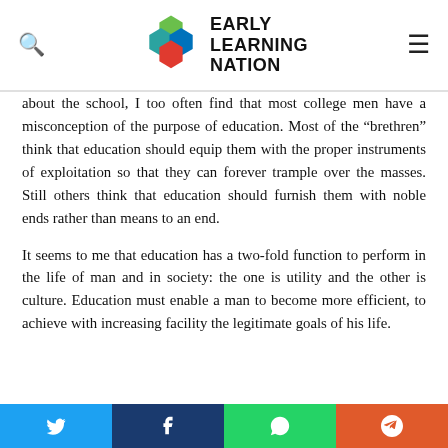Early Learning Nation
about the school, I too often find that most college men have a misconception of the purpose of education. Most of the “brethren” think that education should equip them with the proper instruments of exploitation so that they can forever trample over the masses. Still others think that education should furnish them with noble ends rather than means to an end.
It seems to me that education has a two-fold function to perform in the life of man and in society: the one is utility and the other is culture. Education must enable a man to become more efficient, to achieve with increasing facility the legitimate goals of his life.
Social share buttons: Twitter, Facebook, WhatsApp, Pinterest